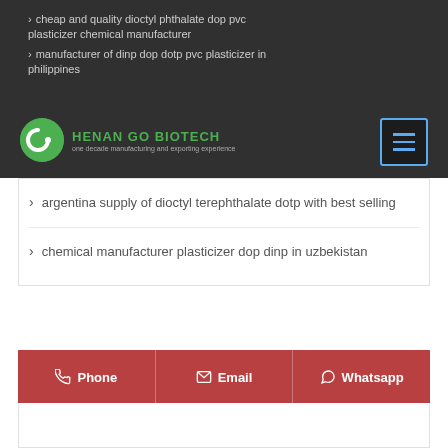cheap and quality dioctyl phthalate dop pvc plasticizer chemical manufacturer
manufacturer of dinp dop dotp pvc plasticizer in philippines
[Figure (logo): Henan Go Biotech logo — green circle with white C-shaped icon, company name in green, tagline in gray]
[Figure (other): Hamburger menu button with blue border and three horizontal blue lines]
argentina supply of dioctyl terephthalate dotp with best selling
chemical manufacturer plasticizer dop dinp in uzbekistan
Phone | Email | Whatsapp contact bar